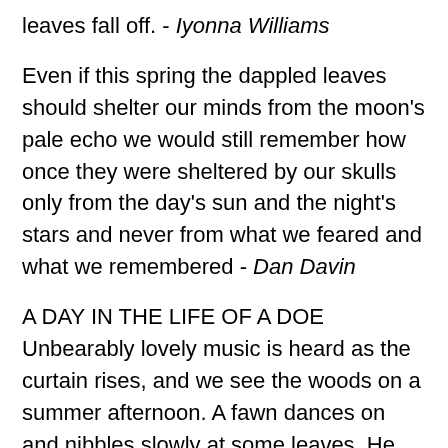leaves fall off. - Iyonna Williams
Even if this spring the dappled leaves should shelter our minds from the moon's pale echo we would still remember how once they were sheltered by our skulls only from the day's sun and the night's stars and never from what we feared and what we remembered - Dan Davin
A DAY IN THE LIFE OF A DOE Unbearably lovely music is heard as the curtain rises, and we see the woods on a summer afternoon. A fawn dances on and nibbles slowly at some leaves. He drifts lazily through the soft foliage. Soon he starts coughing and drops dead. - Woody Allen